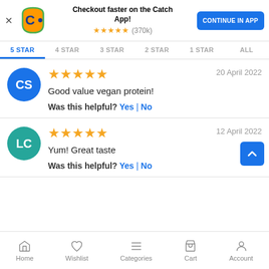[Figure (screenshot): Catch app promotional banner with logo, 5-star rating (370k reviews), and 'CONTINUE IN APP' button]
5 STAR  4 STAR  3 STAR  2 STAR  1 STAR  ALL
[Figure (other): Review by CS - 5 stars, 20 April 2022, Good value vegan protein! Was this helpful? Yes | No]
[Figure (other): Review by LC - 5 stars, 12 April 2022, Yum! Great taste. Was this helpful? Yes | No]
Home  Wishlist  Categories  Cart  Account